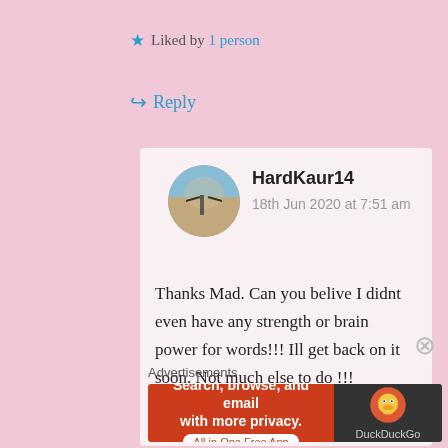★ Liked by 1 person
↳ Reply
HardKaur14
18th Jun 2020 at 7:51 am
Thanks Mad. Can you belive I didnt even have any strength or brain power for words!!! Ill get back on it soon. Not much else to do !!!
Advertisements
[Figure (screenshot): DuckDuckGo advertisement banner: 'Search, browse, and email with more privacy. All in One Free App' with DuckDuckGo duck logo on dark background]